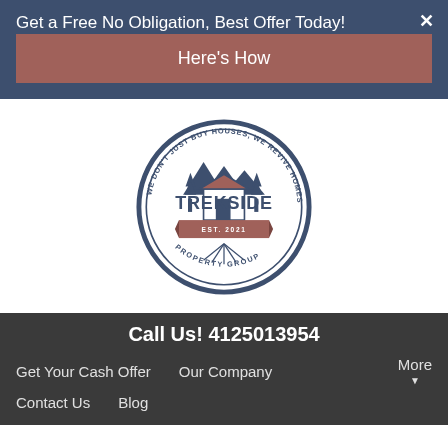Get a Free No Obligation, Best Offer Today!
Here's How
[Figure (logo): Trekside Property Group circular logo with mountains and house illustration. Text reads: WE DON'T JUST BUY HOUSES, WE REVIVE HOMES. TREKSIDE PROPERTY GROUP EST. 2021]
Call Us! 4125013954
Get Your Cash Offer
Our Company
More
Contact Us
Blog
How To Sell A